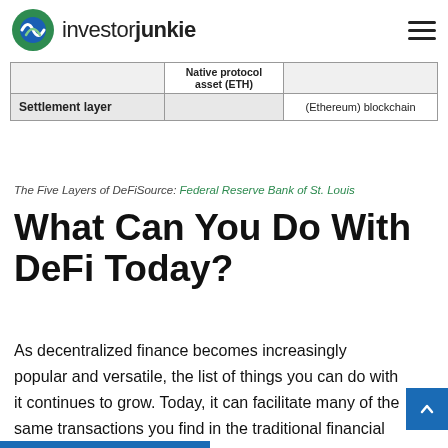investorjunkie
[Figure (table-as-image): Partial diagram showing the Five Layers of DeFi. Visible rows include: Settlement layer with Native protocol asset (ETH) and (Ethereum) blockchain.]
The Five Layers of DeFiSource: Federal Reserve Bank of St. Louis
What Can You Do With DeFi Today?
As decentralized finance becomes increasingly popular and versatile, the list of things you can do with it continues to grow. Today, it can facilitate many of the same transactions you find in the traditional financial system.